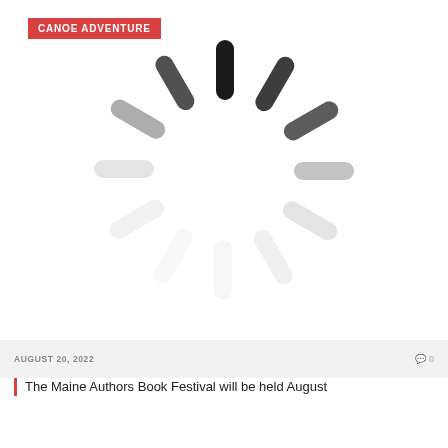[Figure (photo): A blurred loading spinner / radial pattern with dark segments at top and lighter gray segments radiating outward against a white background. A red category label 'CANOE ADVENTURE' overlays the top-left corner.]
CANOE ADVENTURE
AUGUST 20, 2022
0
The Maine Authors Book Festival will be held August